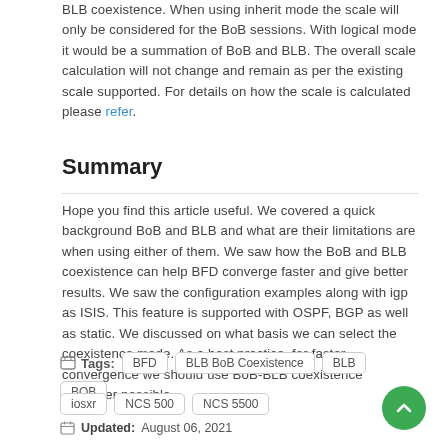BLB coexistence. When using inherit mode the scale will only be considered for the BoB sessions. With logical mode it would be a summation of BoB and BLB. The overall scale calculation will not change and remain as per the existing scale supported. For details on how the scale is calculated please refer.
Summary
Hope you find this article useful. We covered a quick background BoB and BLB and what are their limitations are when using either of them. We saw how the BoB and BLB coexistence can help BFD converge faster and give better results. We saw the configuration examples along with igp as ISIS. This feature is supported with OSPF, BGP as well as static. We discussed on what basis we can select the coexistence mode. As a best practice, for faster convergence we should use BoB-BLB coexistence wherever possible.
Tags: BFD | BLB BoB Coexistence | BLB | BOB | iosxr | NCS 500 | NCS 5500
Updated: August 06, 2021